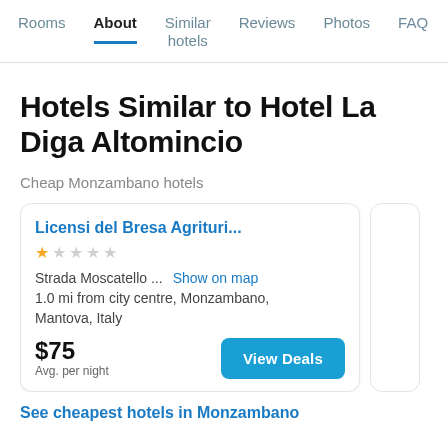Rooms  About  Similar hotels  Reviews  Photos  FAQ
Hotels Similar to Hotel La Diga Altomincio
Cheap Monzambano hotels
Licensi del Bresa Agrituri...
★☆☆☆☆
Strada Moscatello ...  Show on map
1.0 mi from city centre, Monzambano, Mantova, Italy
$75
Avg. per night
View Deals
See cheapest hotels in Monzambano